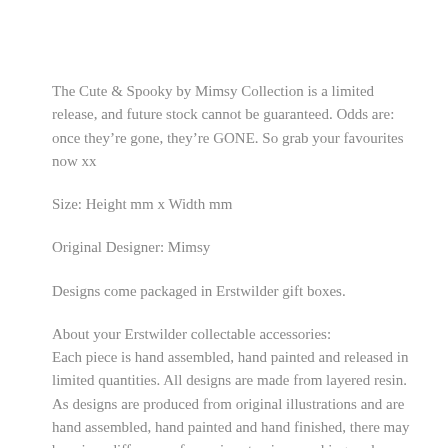The Cute & Spooky by Mimsy Collection is a limited release, and future stock cannot be guaranteed. Odds are: once they're gone, they're GONE. So grab your favourites now xx
Size: Height mm x Width mm
Original Designer: Mimsy
Designs come packaged in Erstwilder gift boxes.
About your Erstwilder collectable accessories:
Each piece is hand assembled, hand painted and released in limited quantities. All designs are made from layered resin. As designs are produced from original illustrations and are hand assembled, hand painted and hand finished, there may be minor differences from piece to piece, making each as unique as those who wear them. Metal components used in creating this piece include a beautiful and